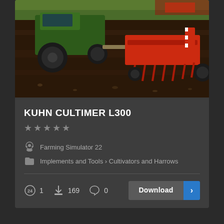[Figure (screenshot): Farming simulator screenshot showing a green tractor pulling a red Kuhn Cultimer L300 cultivator/harrow implement across dark soil]
KUHN CULTIMER L300
★★★★★ (empty stars rating)
Farming Simulator 22
Implements and Tools › Cultivators and Harrows
1  169  0
Download